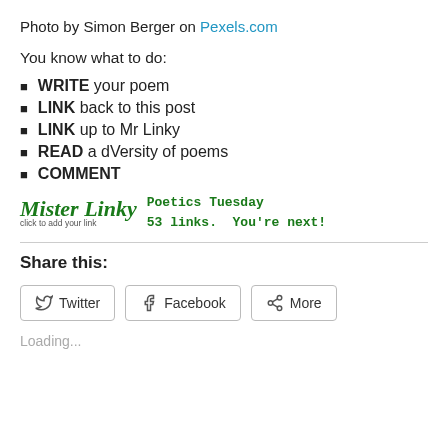Photo by Simon Berger on Pexels.com
You know what to do:
WRITE your poem
LINK back to this post
LINK up to Mr Linky
READ a dVersity of poems
COMMENT
[Figure (logo): Mister Linky logo with script text and 'click to add your link' subtitle, followed by green monospace text: 'Poetics Tuesday 53 links. You're next!']
Share this:
Twitter  Facebook  More
Loading...